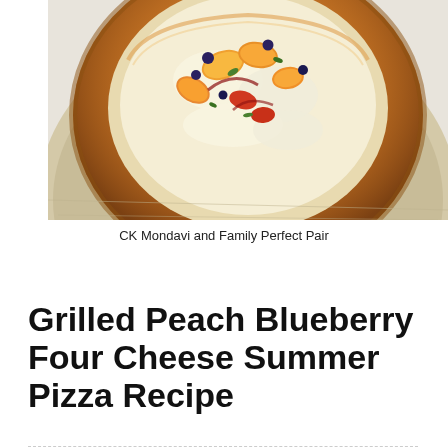[Figure (photo): A round artisan pizza on a wooden board, topped with grilled peach slices, blueberries, melted cheese, and fresh herbs]
CK Mondavi and Family Perfect Pair
Grilled Peach Blueberry Four Cheese Summer Pizza Recipe